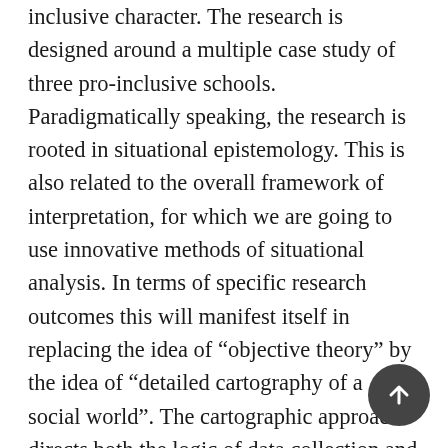inclusive character. The research is designed around a multiple case study of three pro-inclusive schools. Paradigmatically speaking, the research is rooted in situational epistemology. This is also related to the overall framework of interpretation, for which we are going to use innovative methods of situational analysis. In terms of specific research outcomes this will manifest itself in replacing the idea of “objective theory” by the idea of “detailed cartography of a social world”. The cartographic approach directs both the logic of data collection and the choice of methods of their analysis and interpretation. The research results include detection of the following sensitive concepts: Key persons. All participants can contribute to promoting an inclusion-friendly environment; however, some do so with greater motivation than others. These could include school management, teachers with a strong vision of equality, or school